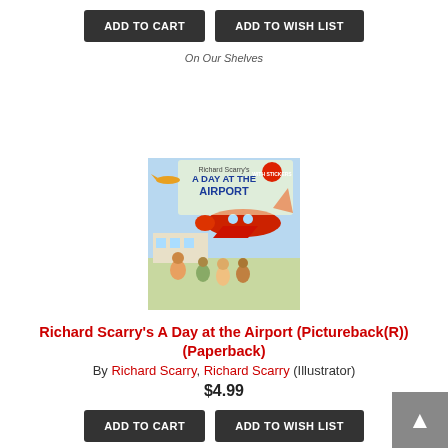ADD TO CART   ADD TO WISH LIST
On Our Shelves
[Figure (illustration): Book cover for Richard Scarry's A Day at the Airport (Pictureback) showing cartoon animal characters at an airport with a red airplane]
Richard Scarry's A Day at the Airport (Pictureback(R)) (Paperback)
By Richard Scarry, Richard Scarry (Illustrator)
$4.99
ADD TO CART   ADD TO WISH LIST
On Our Shelves
[Figure (illustration): Partial book cover for Richard Scarry's Busy Busy Airport, purple cover, partially visible at bottom of page]